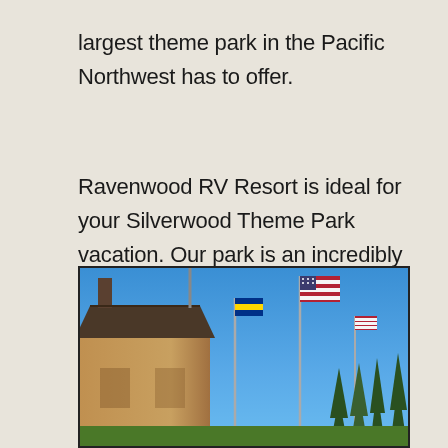largest theme park in the Pacific Northwest has to offer.
Ravenwood RV Resort is ideal for your Silverwood Theme Park vacation. Our park is an incredibly convenient place to stay, with daily shuttle service to Silverwood available Memorial thru Labor Day weekends.
[Figure (photo): Outdoor photo of a building with wood siding and a dark roof, multiple flagpoles with an American flag and other flags flying, evergreen trees in the background, clear blue sky]